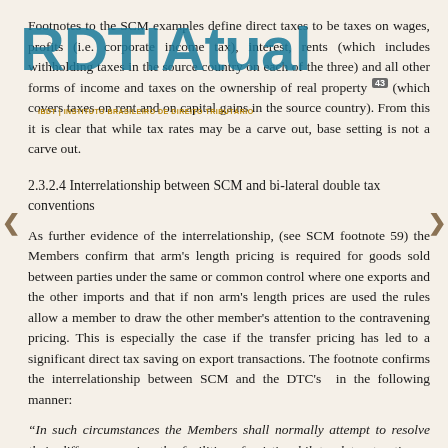Footnotes to the SCM examples define direct taxes to be taxes on wages, profits (i.e. corporate income tax), interest, rents (which includes withholding taxes in the source country on each of the three) and all other forms of income and taxes on the ownership of real property [43] (which covers taxes on rent and on capital gains in the source country). From this it is clear that while tax rates may be a carve out, base setting is not a carve out.
2.3.2.4 Interrelationship between SCM and bi-lateral double tax conventions
As further evidence of the interrelationship, (see SCM footnote 59) the Members confirm that arm's length pricing is required for goods sold between parties under the same or common control where one exports and the other imports and that if non arm's length prices are used the rules allow a member to draw the other member's attention to the contravening pricing. This is especially the case if the transfer pricing has led to a significant direct tax saving on export transactions. The footnote confirms the interrelationship between SCM and the DTC's in the following manner:
“In such circumstances the Members shall normally attempt to resolve their differences using the facilities of existing bilateral tax treaties or other specific international mechanisms, without